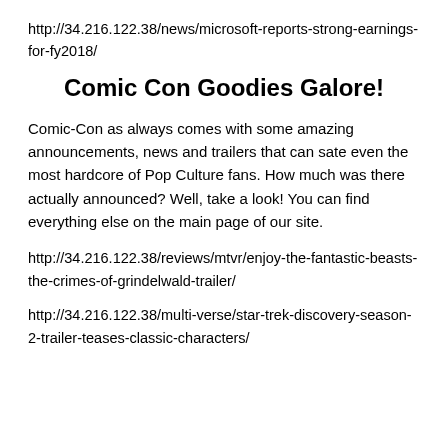http://34.216.122.38/news/microsoft-reports-strong-earnings-for-fy2018/
Comic Con Goodies Galore!
Comic-Con as always comes with some amazing announcements, news and trailers that can sate even the most hardcore of Pop Culture fans. How much was there actually announced? Well, take a look! You can find everything else on the main page of our site.
http://34.216.122.38/reviews/mtvr/enjoy-the-fantastic-beasts-the-crimes-of-grindelwald-trailer/
http://34.216.122.38/multi-verse/star-trek-discovery-season-2-trailer-teases-classic-characters/